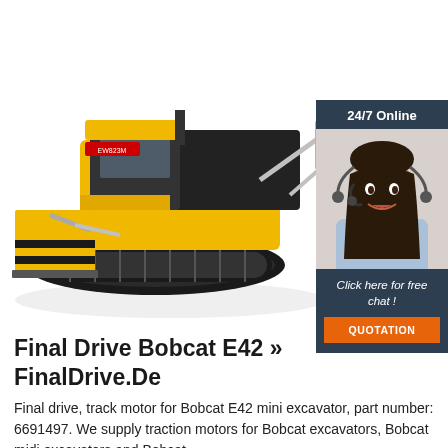[Figure (photo): Yellow bulldozer/crawler tractor with black tracks and blade, shown at an angle. Also includes a customer service chat widget on the right side showing a woman with headset, '24/7 Online' header, 'Click here for free chat!' text, and an orange QUOTATION button.]
Final Drive Bobcat E42 » FinalDrive.De
Final drive, track motor for Bobcat E42 mini excavator, part number: 6691497. We supply traction motors for Bobcat excavators, Bobcat midi excavators and Bobcat